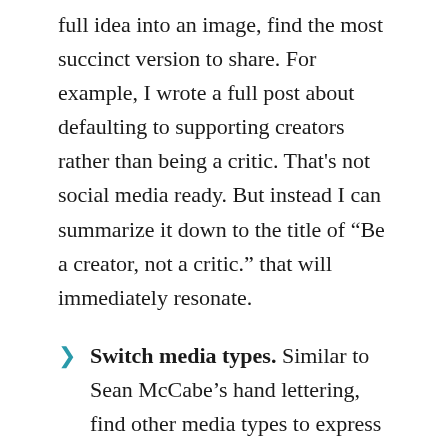full idea into an image, find the most succinct version to share. For example, I wrote a full post about defaulting to supporting creators rather than being a critic. That's not social media ready. But instead I can summarize it down to the title of “Be a creator, not a critic.” that will immediately resonate.
Switch media types. Similar to Sean McCabe’s hand lettering, find other media types to express your ideas. A photo of something written out, a quote engraved in wood, or a poster framed on the wall, can resonate with an audience.